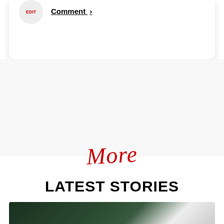Comment →
More
LATEST STORIES
[Figure (photo): Dark photo strip at bottom of page showing partial view of a scene with green and light tones]